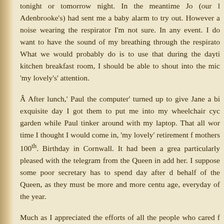tonight or tomorrow night. In the meantime Jo (our l Adenbrooke's) had sent me a baby alarm to try out. However a noise wearing the respirator I'm not sure. In any event. I do want to have the sound of my breathing through the respirato What we would probably do is to use that during the dayti kitchen breakfast room, I should be able to shout into the mic 'my lovely's' attention.
Â After lunch,' Paul the computer' turned up to give Jane a bi exquisite day I got them to put me into my wheelchair cyc garden while Paul tinker around with my laptop. That all wor time I thought I would come in, 'my lovely' retirement f mothers 100th. Birthday in Cornwall. It had been a grea particularly pleased with the telegram from the Queen in add her. I suppose some poor secretary has to spend day after d behalf of the Queen, as they must be more and more centu age, everyday of the year.
Much as I appreciated the efforts of all the people who cared f being away, I must admit I was very pleased to see her hom needs, and attempts of them as well as she does.